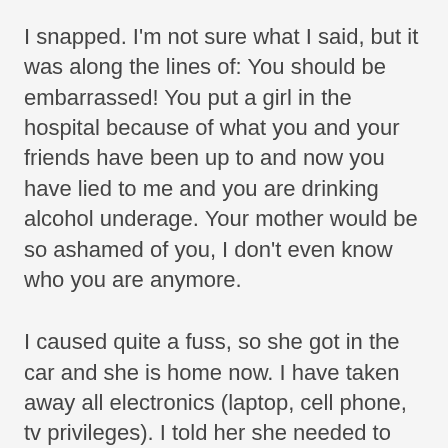I snapped. I'm not sure what I said, but it was along the lines of: You should be embarrassed! You put a girl in the hospital because of what you and your friends have been up to and now you have lied to me and you are drinking alcohol underage. Your mother would be so ashamed of you, I don't even know who you are anymore.
I caused quite a fuss, so she got in the car and she is home now. I have taken away all electronics (laptop, cell phone, tv privileges). I told her she needed to log into the anonymous facebook and post a message apologizing and naming herself as the person who posted the pictures. When she logged in, I immediately looked through her posts.